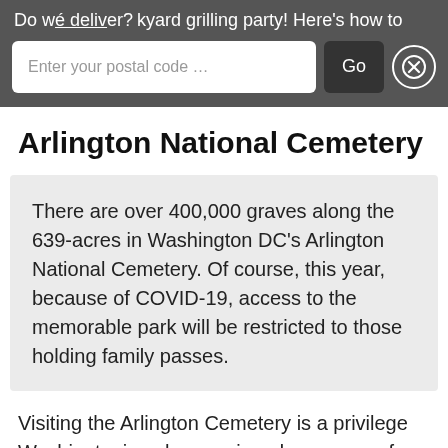Do we deliver? kyard grilling party! Here's how to
Enter your postal code …
Arlington National Cemetery
There are over 400,000 graves along the 639-acres in Washington DC's Arlington National Cemetery. Of course, this year, because of COVID-19, access to the memorable park will be restricted to those holding family passes.
Visiting the Arlington Cemetery is a privilege Washingtonians have enjoyed every year for